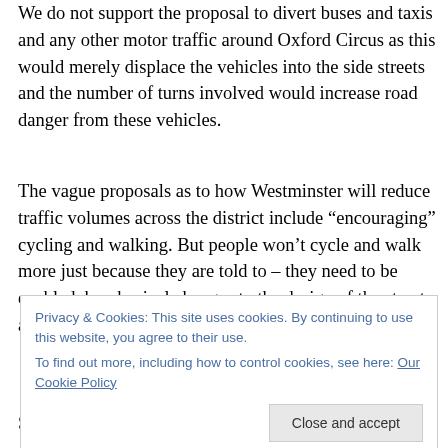We do not support the proposal to divert buses and taxis and any other motor traffic around Oxford Circus as this would merely displace the vehicles into the side streets and the number of turns involved would increase road danger from these vehicles.
The vague proposals as to how Westminster will reduce traffic volumes across the district include “encouraging” cycling and walking. But people won’t cycle and walk more just because they are told to – they need to be enabled, by physical changes to the design of the streets, and reducing amount of motor traffic they’re exposed to.
Privacy & Cookies: This site uses cookies. By continuing to use this website, you agree to their use. To find out more, including how to control cookies, see here: Our Cookie Policy
Close and accept
So we propose the following to eliminate through motor